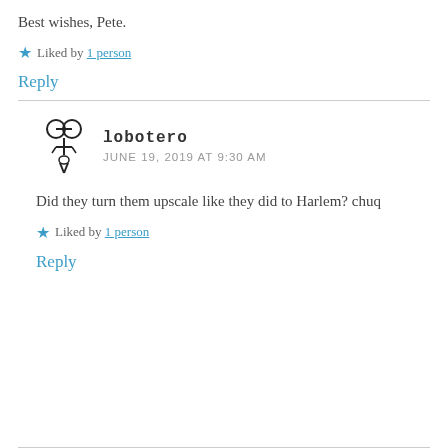Best wishes, Pete.
★ Liked by 1 person
Reply
[Figure (illustration): Avatar icon showing scissors/pen tool symbol for user lobotero]
lobotero
JUNE 19, 2019 AT 9:30 AM
Did they turn them upscale like they did to Harlem? chuq
★ Liked by 1 person
Reply